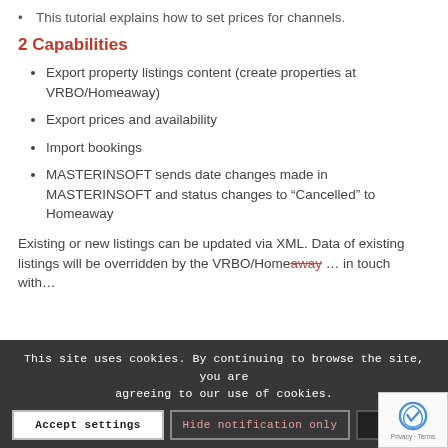This tutorial explains how to set prices for channels.
2 Capabilities
Export property listings content (create properties at VRBO/Homeaway)
Export prices and availability
Import bookings
MASTERINSOFT sends date changes made in MASTERINSOFT and status changes to “Cancelled” to Homeaway
Existing or new listings can be updated via XML. Data of existing listings will be overridden by the VRBO/Home... in touch with ... to be ...
This site uses cookies. By continuing to browse the site, you are agreeing to our use of cookies.